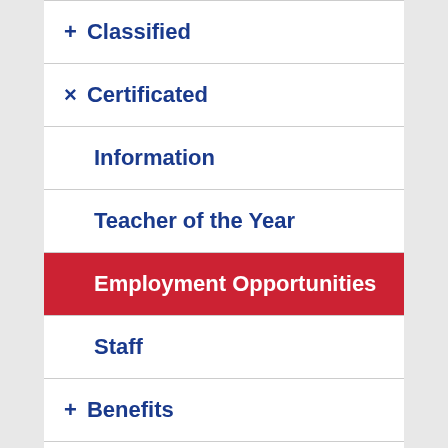+ Classified
× Certificated
Information
Teacher of the Year
Employment Opportunities
Staff
+ Benefits